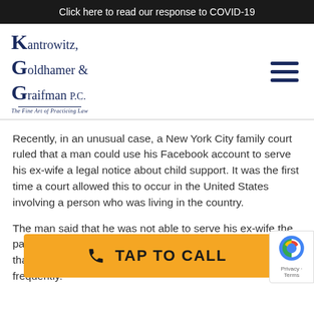Click here to read our response to COVID-19
[Figure (logo): Kantrowitz, Goldhamer & Graifman P.C. law firm logo with tagline 'The Fine Art of Practicing Law']
Recently, in an unusual case, a New York City family court ruled that a man could use his Facebook account to serve his ex-wife a legal notice about child support. It was the first time a court allowed this to occur in the United States involving a person who was living in the country.
The man said that he was not able to serve his ex-wife the paperwork in any of the usual ways—that she mo... and tha... Google. However, he did see her posting on Facebook frequently.